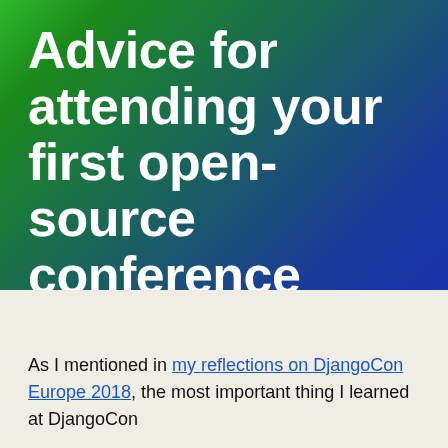Advice for attending your first open-source conference
Published 18 June, 2018.
As I mentioned in my reflections on DjangoCon Europe 2018, the most important thing I learned at DjangoCon